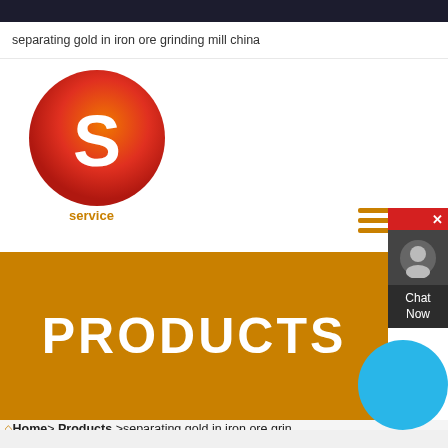separating gold in iron ore grinding mill china
[Figure (logo): Company logo: orange/red circular S logo with bubble design, labeled 'service' below]
PRODUCTS
Home > Products > separating gold in iron ore grinding mill china
[Figure (photo): Industrial machinery photo showing what appears to be a grinding mill in a factory setting with Chinese language banner]